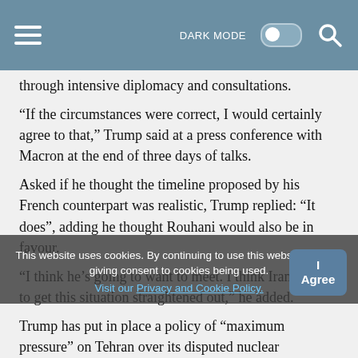DARK MODE [toggle] [search]
through intensive diplomacy and consultations.
“If the circumstances were correct, I would certainly agree to that,” Trump said at a press conference with Macron at the end of three days of talks.
Asked if he thought the timeline proposed by his French counterpart was realistic, Trump replied: “It does”, adding he thought Rouhani would also be in favour.
“I think he’s going to want to meet. I think Iran wants to get this situation straightened out,” he added.
Trump has put in place a policy of “maximum pressure” on Tehran over its disputed nuclear programme via crippling sanctions that are seen as raising the risk of conflict in the Middle East.
The US president last year unilaterally pulled out of a
This website uses cookies. By continuing to use this website you are giving consent to cookies being used.
Visit our Privacy and Cookie Policy.